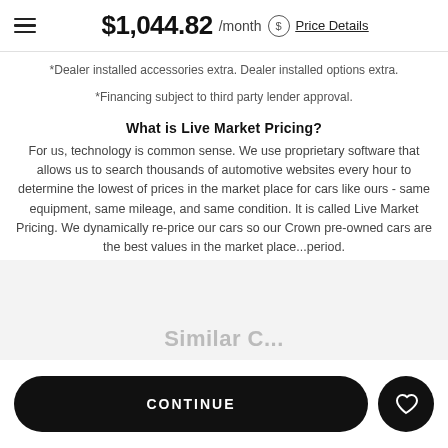$1,044.82 /month Price Details
*Dealer installed accessories extra. Dealer installed options extra.
*Financing subject to third party lender approval.
What is Live Market Pricing?
For us, technology is common sense. We use proprietary software that allows us to search thousands of automotive websites every hour to determine the lowest of prices in the market place for cars like ours - same equipment, same mileage, and same condition. It is called Live Market Pricing. We dynamically re-price our cars so our Crown pre-owned cars are the best values in the market place...period.
Similar C...
CONTINUE